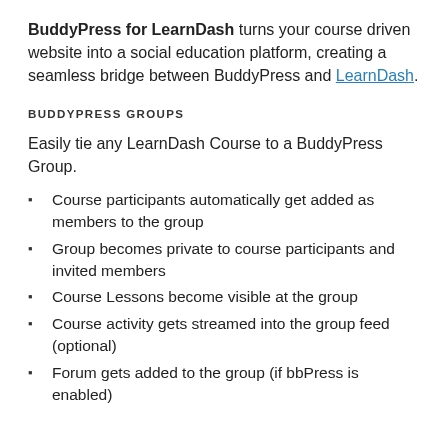BuddyPress for LearnDash turns your course driven website into a social education platform, creating a seamless bridge between BuddyPress and LearnDash.
BUDDYPRESS GROUPS
Easily tie any LearnDash Course to a BuddyPress Group.
Course participants automatically get added as members to the group
Group becomes private to course participants and invited members
Course Lessons become visible at the group
Course activity gets streamed into the group feed (optional)
Forum gets added to the group (if bbPress is enabled)